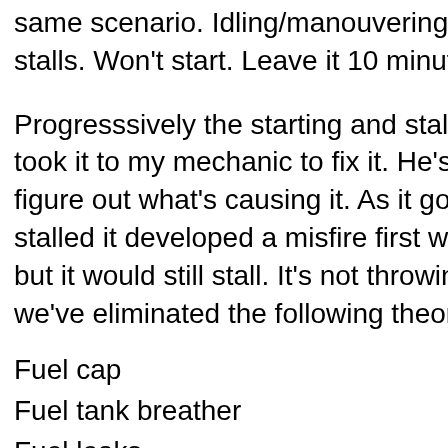same scenario. Idling/manouvering at low revs, go to stalls. Won't start. Leave it 10 minutes and it starts a
Progresssively the starting and stalling issues happe took it to my mechanic to fix it. He's had it for severa figure out what's causing it. As it got worse we notice stalled it developed a misfire first which you could fig but it would still stall. It's not throwing up any (releva we've eliminated the following theories:
Fuel cap
Fuel tank breather
Fuel leaks
In tank fuel pump
Battery
Electrical connections
Injectors (they were cleaned 2 years ago and have b